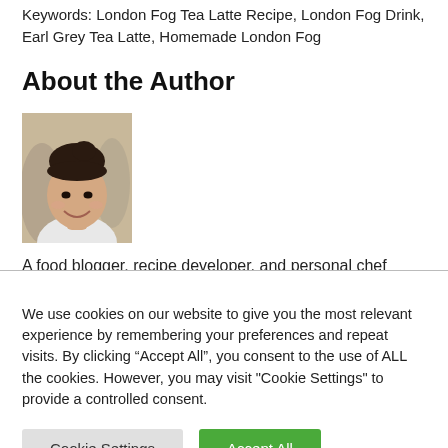Keywords: London Fog Tea Latte Recipe, London Fog Drink, Earl Grey Tea Latte, Homemade London Fog
About the Author
[Figure (photo): Portrait photo of a young woman with dark hair pulled up, smiling, in an indoor/outdoor setting]
A food blogger, recipe developer, and personal chef
We use cookies on our website to give you the most relevant experience by remembering your preferences and repeat visits. By clicking “Accept All”, you consent to the use of ALL the cookies. However, you may visit "Cookie Settings" to provide a controlled consent.